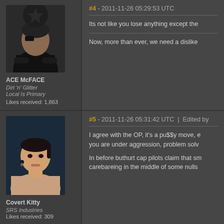[Figure (photo): Avatar image of ACE McFACE - dark-clad male character with arms crossed]
ACE McFACE
Dirt 'n' Glitter
Local Is Primary
Likes received: 1,863
#4 - 2011-11-26 05:29:53 UTC
Its not like you lose anything except the
Now, more than ever, we need a dislike
[Figure (photo): Avatar image of Covert Kitty - female character with dark hair and earring]
Covert Kitty
SRS Industries
Likes received: 309
#5 - 2011-11-26 05:31:42 UTC | Edited by
I agree with the OP, it's a pu$$y move, e
you are under aggression, problem solv
In before buthurt cap pilots claim that sm
carebareing in the middle of some nulls